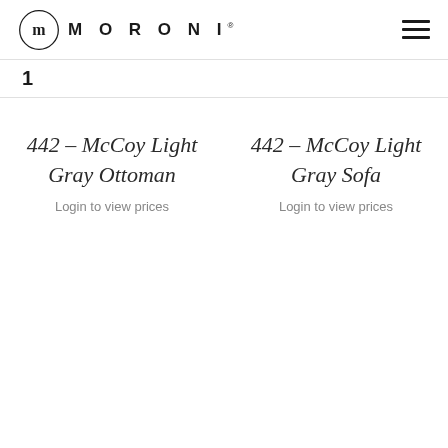MORONI
1
442 – McCoy Light Gray Ottoman
Login to view prices
442 – McCoy Light Gray Sofa
Login to view prices